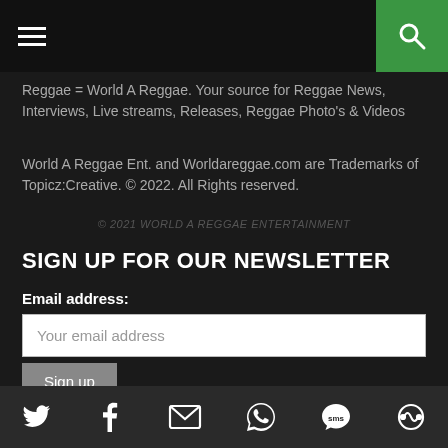[Hamburger menu icon] [Search icon]
Reggae = World A Reggae. Your source for Reggae News, Interviews, Live streams, Releases, Reggae Photo's & Videos
World A Reggae Ent. and Worldareggae.com are Trademarks of Topicz:Creative. © 2022. All Rights reserved.
© 2021 WORLD A REGGAE ENTERTAINMENT
SIGN UP FOR OUR NEWSLETTER
Email address:
Your email address
Sign up
The Content on this website may not be reproduced, distributed, cached, transmitted or otherwise used, except with the prior written
[Twitter] [Facebook] [Email] [WhatsApp] [SMS] [Other]